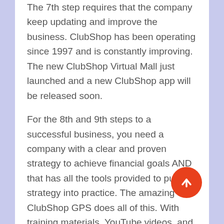The 7th step requires that the company keep updating and improve the business. ClubShop has been operating since 1997 and is constantly improving. The new ClubShop Virtual Mall just launched and a new ClubShop app will be released soon.
For the 8th and 9th steps to a successful business, you need a company with a clear and proven strategy to achieve financial goals AND that has all the tools provided to put that strategy into practice. The amazing ClubShop GPS does all of this. With training materials, YouTube videos, and various GPS features, all of this success is attainable. Not to mention there is always support from the upline and the ClubShop community.
The last step to have a successful money making